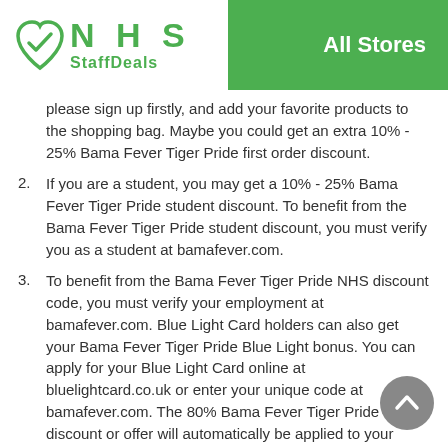[Figure (logo): NHS StaffDeals logo with green heart/checkmark icon and green text]
All Stores
please sign up firstly, and add your favorite products to the shopping bag. Maybe you could get an extra 10% - 25% Bama Fever Tiger Pride first order discount.
2. If you are a student, you may get a 10% - 25% Bama Fever Tiger Pride student discount. To benefit from the Bama Fever Tiger Pride student discount, you must verify you as a student at bamafever.com.
3. To benefit from the Bama Fever Tiger Pride NHS discount code, you must verify your employment at bamafever.com. Blue Light Card holders can also get your Bama Fever Tiger Pride Blue Light bonus. You can apply for your Blue Light Card online at bluelightcard.co.uk or enter your unique code at bamafever.com. The 80% Bama Fever Tiger Pride NHS discount or offer will automatically be applied to your shopping basket if the code is applied. If the code is not working, please check and try again at